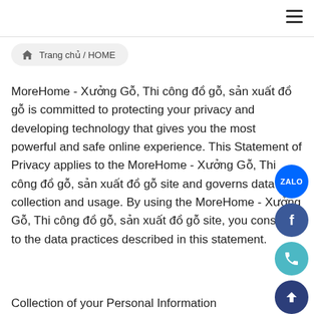Trang chủ / HOME
MoreHome - Xưởng Gỗ, Thi công đồ gỗ, sản xuất đồ gỗ is committed to protecting your privacy and developing technology that gives you the most powerful and safe online experience. This Statement of Privacy applies to the MoreHome - Xưởng Gỗ, Thi công đồ gỗ, sản xuất đồ gỗ site and governs data collection and usage. By using the MoreHome - Xưởng Gỗ, Thi công đồ gỗ, sản xuất đồ gỗ site, you consent to the data practices described in this statement.
Collection of your Personal Information